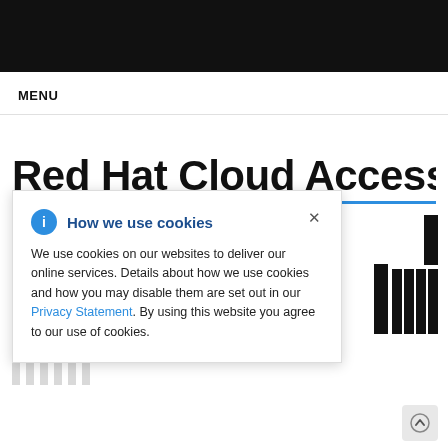MENU
Red Hat Cloud Access
[Figure (screenshot): Background image showing RHEL and Red Hat Insights logos/bar chart graphics, partially obscured by cookie consent popup]
How we use cookies

We use cookies on our websites to deliver our online services. Details about how we use cookies and how you may disable them are set out in our Privacy Statement. By using this website you agree to our use of cookies.
RED HAT INSIGHTS 2022